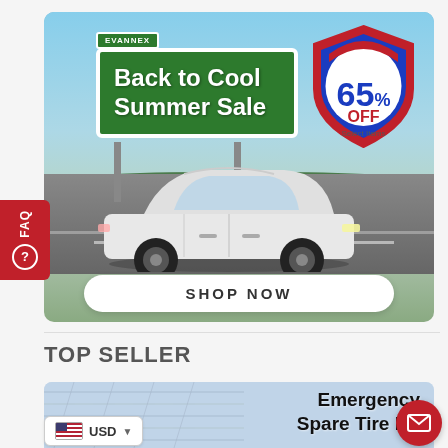[Figure (illustration): EVANNEX 'Back to Cool Summer Sale' banner ad showing a white Tesla Model Y driving on a highway with a green billboard sign, and a red/blue/white shield badge showing 'Up To 65% OFF Select Items'. A 'SHOP NOW' button is at the bottom of the banner.]
TOP SELLER
[Figure (photo): Partial product banner image showing 'Emergency Spare Tire Kit' text over a blue/grey background with metallic panels visible.]
USD
[Figure (illustration): Red mail/envelope button icon in bottom right corner.]
FAQ